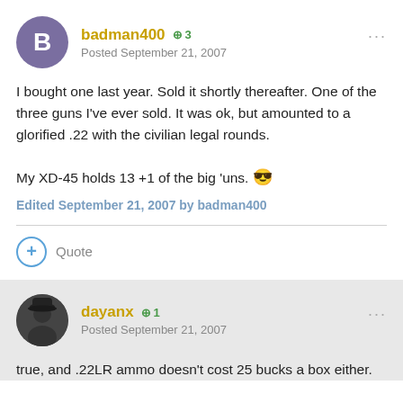badman400 +3 Posted September 21, 2007
I bought one last year. Sold it shortly thereafter. One of the three guns I've ever sold. It was ok, but amounted to a glorified .22 with the civilian legal rounds.
My XD-45 holds 13 +1 of the big 'uns. 😎
Edited September 21, 2007 by badman400
+ Quote
dayanx +1 Posted September 21, 2007
true, and .22LR ammo doesn't cost 25 bucks a box either.